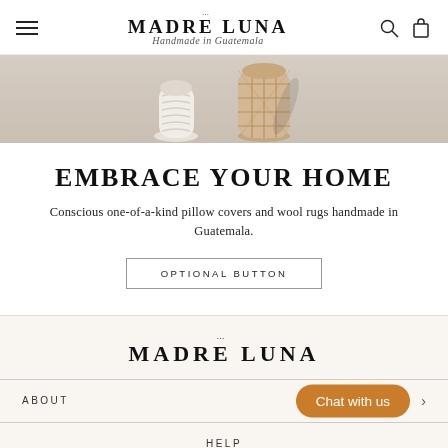MADRE LUNA – Handmade in Guatemala – navigation header with menu, search, and cart icons
[Figure (photo): Hero banner image showing handmade woven/knit items (a white knit vase and a woven basket lantern) on a light surface]
EMBRACE YOUR HOME
Conscious one-of-a-kind pillow covers and wool rugs handmade in Guatemala.
OPTIONAL BUTTON
[Figure (logo): MADRE LUNA logo with decorative dots above M and A]
ABOUT
Chat with us
HELP